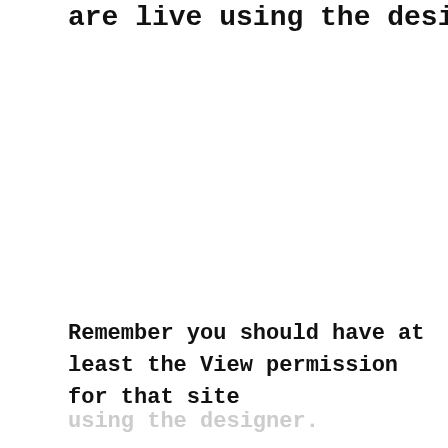are live using the designer.
Remember you should have at least the View permission for that site
using the designer.